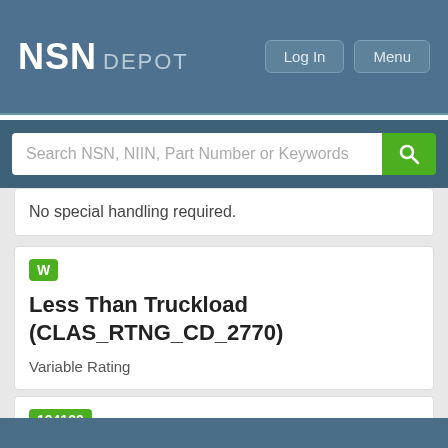NSN DEPOT
Search NSN, NIIN, Part Number or Keywords
No special handling required.
W
Less Than Truckload (CLAS_RTNG_CD_2770)
Variable Rating
194120
National Motor Freight Classification Number (NMFC Item Number) (NMFC_2850)